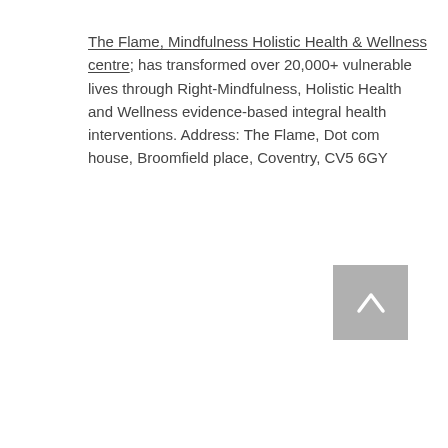The Flame, Mindfulness Holistic Health & Wellness centre; has transformed over 20,000+ vulnerable lives through Right-Mindfulness, Holistic Health and Wellness evidence-based integral health interventions. Address: The Flame, Dot com house, Broomfield place, Coventry, CV5 6GY